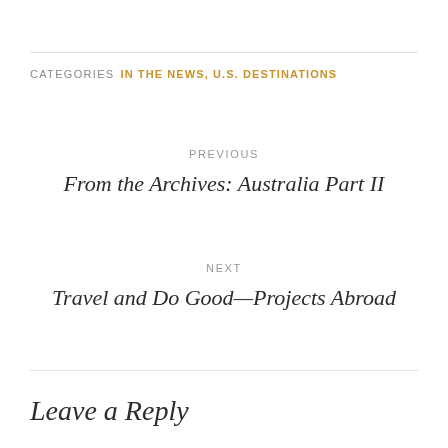CATEGORIES  IN THE NEWS, U.S. DESTINATIONS
PREVIOUS
From the Archives: Australia Part II
NEXT
Travel and Do Good—Projects Abroad
Leave a Reply